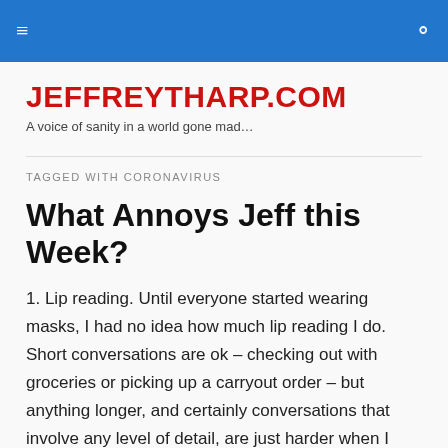≡  🔍
JEFFREYTHARP.COM
A voice of sanity in a world gone mad…
TAGGED WITH CORONAVIRUS
What Annoys Jeff this Week?
1. Lip reading. Until everyone started wearing masks, I had no idea how much lip reading I do. Short conversations are ok – checking out with groceries or picking up a carryout order – but anything longer, and certainly conversations that involve any level of detail, are just harder when I can't see someone's mouth moving. I